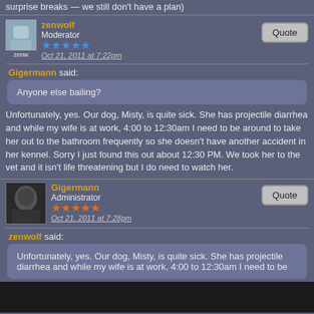surprise breaks — we still don't have a plan)
zenwolf
Moderator
Oct 21, 2011 at 7:22pm
Gigermann said:
Anyone else bailing?
Unfortunately, yes. Our dog, Misty, is quite sick. She has projectile diarrhea and while my wife is at work, 4:00 to 12:30am I need to be around to take her out to the bathroom frequently so she doesn't have another accident in her kennel. Sorry I just found this out about 12:30 PM. We took her to the vet and it isn't life threatening but I do need to watch her.
Gigermann
Administrator
Oct 21, 2011 at 7:28pm
zenwolf said:
Unfortunately, yes. Our dog, Misty, is quite sick. She has projectile diarrhea and while my wife is at work, 4:00 to 12:30am I need to be